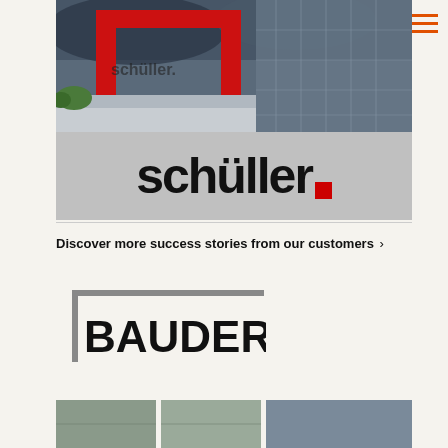[Figure (photo): Schüller company building exterior with red architectural frame and glass facade, with the Schüller wordmark logo on a grey background below]
Discover more success stories from our customers ›
[Figure (logo): Bauder company logo with grey corner bracket and bold BAUDER text]
[Figure (photo): Partial bottom strip of images visible at page bottom]